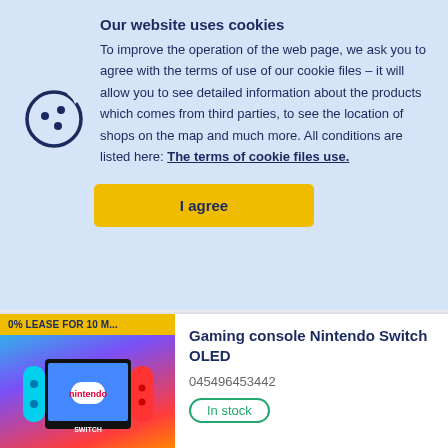Our website uses cookies
To improve the operation of the web page, we ask you to agree with the terms of use of our cookie files – it will allow you to see detailed information about the products which comes from third parties, to see the location of shops on the map and much more. All conditions are listed here: The terms of cookie files use.
[Figure (illustration): Cookie icon — a circular cookie with three chocolate chip dots, outlined in navy blue]
I agree
0% LEASE FOR 10 M...
Gaming console Nintendo Switch OLED
045496453442
In stock